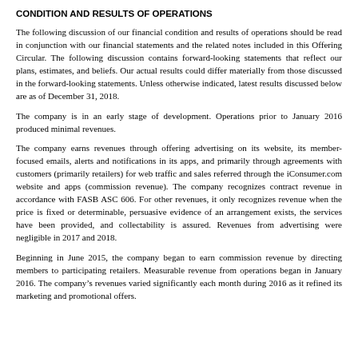CONDITION AND RESULTS OF OPERATIONS
The following discussion of our financial condition and results of operations should be read in conjunction with our financial statements and the related notes included in this Offering Circular. The following discussion contains forward-looking statements that reflect our plans, estimates, and beliefs. Our actual results could differ materially from those discussed in the forward-looking statements. Unless otherwise indicated, latest results discussed below are as of December 31, 2018.
The company is in an early stage of development. Operations prior to January 2016 produced minimal revenues.
The company earns revenues through offering advertising on its website, its member-focused emails, alerts and notifications in its apps, and primarily through agreements with customers (primarily retailers) for web traffic and sales referred through the iConsumer.com website and apps (commission revenue). The company recognizes contract revenue in accordance with FASB ASC 606. For other revenues, it only recognizes revenue when the price is fixed or determinable, persuasive evidence of an arrangement exists, the services have been provided, and collectability is assured. Revenues from advertising were negligible in 2017 and 2018.
Beginning in June 2015, the company began to earn commission revenue by directing members to participating retailers. Measurable revenue from operations began in January 2016. The company’s revenues varied significantly each month during 2016 as it refined its marketing and promotional offers.